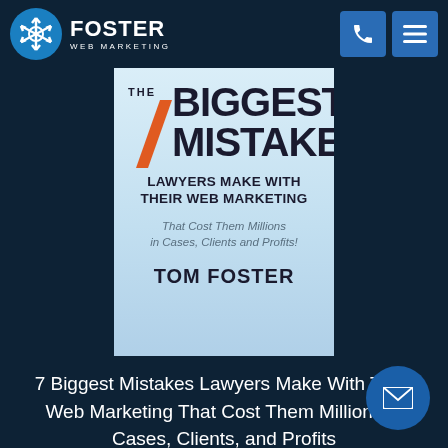[Figure (logo): Foster Web Marketing logo with hexagonal snowflake icon and text FOSTER WEB MARKETING, plus phone and menu icons in blue nav bar]
[Figure (photo): Book cover: 'The 7 Biggest Mistakes Lawyers Make With Their Web Marketing That Cost Them Millions in Cases, Clients and Profits!' by Tom Foster, light blue background with orange slash and bold dark text]
7 Biggest Mistakes Lawyers Make With Their Web Marketing That Cost Them Millions in Cases, Clients, and Profits